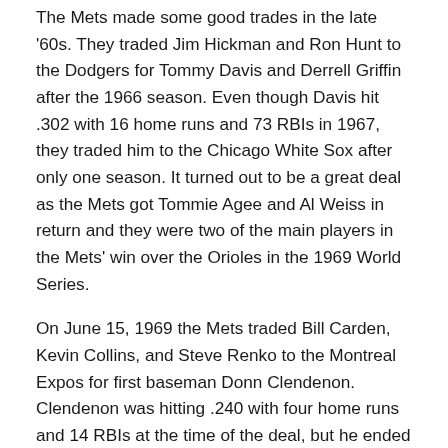The Mets made some good trades in the late '60s. They traded Jim Hickman and Ron Hunt to the Dodgers for Tommy Davis and Derrell Griffin after the 1966 season. Even though Davis hit .302 with 16 home runs and 73 RBIs in 1967, they traded him to the Chicago White Sox after only one season. It turned out to be a great deal as the Mets got Tommie Agee and Al Weiss in return and they were two of the main players in the Mets' win over the Orioles in the 1969 World Series.
On June 15, 1969 the Mets traded Bill Carden, Kevin Collins, and Steve Renko to the Montreal Expos for first baseman Donn Clendenon. Clendenon was hitting .240 with four home runs and 14 RBIs at the time of the deal, but he ended up as the World Series MVP.
The Mets have also made their share of bad deals. They